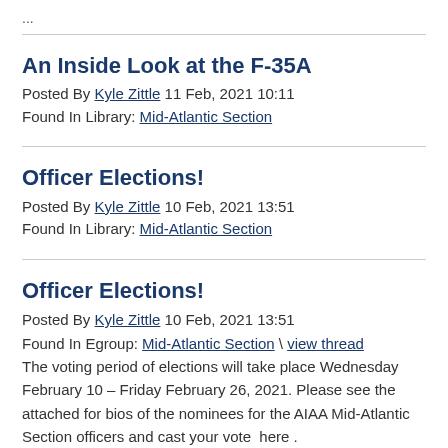...
An Inside Look at the F-35A
Posted By Kyle Zittle 11 Feb, 2021 10:11
Found In Library: Mid-Atlantic Section
Officer Elections!
Posted By Kyle Zittle 10 Feb, 2021 13:51
Found In Library: Mid-Atlantic Section
Officer Elections!
Posted By Kyle Zittle 10 Feb, 2021 13:51
Found In Egroup: Mid-Atlantic Section \ view thread
The voting period of elections will take place Wednesday February 10 – Friday February 26, 2021. Please see the attached for bios of the nominees for the AIAA Mid-Atlantic Section officers and cast your vote  here . ——————————— Kyle Zittle Chair, AIAA Mid-Atlantic Section ——— ...